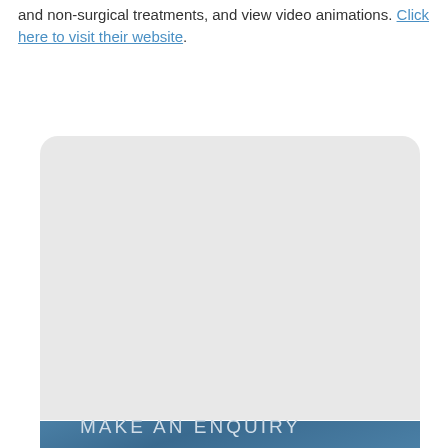and non-surgical treatments, and view video animations. Click here to visit their website.
[Figure (photo): A large rounded light gray image placeholder box with a blue section at the bottom containing the text 'MAKE AN ENQUIRY']
MAKE AN ENQUIRY